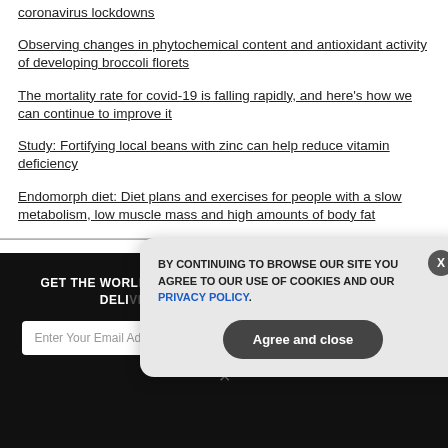coronavirus lockdowns
Observing changes in phytochemical content and antioxidant activity of developing broccoli florets
The mortality rate for covid-19 is falling rapidly, and here’s how we can continue to improve it
Study: Fortifying local beans with zinc can help reduce vitamin deficiency
Endomorph diet: Diet plans and exercises for people with a slow metabolism, low muscle mass and high amounts of body fat
GET THE WORLD'S BEST NATURAL HEALTH NEWSLETTER DELIVERED STRAIGHT TO YOUR INBOX
Enter Your Email Address
SUBSCRIBE
BY CONTINUING TO BROWSE OUR SITE YOU AGREE TO OUR USE OF COOKIES AND OUR PRIVACY POLICY.
Agree and close